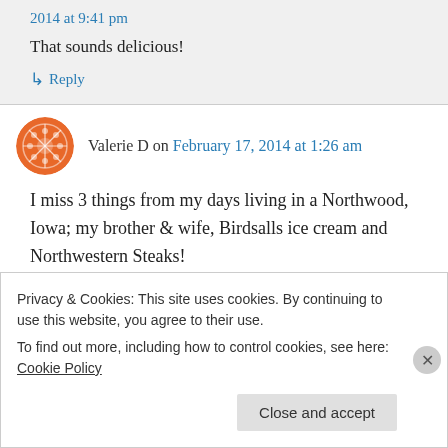2014 at 9:41 pm
That sounds delicious!
↳ Reply
Valerie D on February 17, 2014 at 1:26 am
I miss 3 things from my days living in a Northwood, Iowa; my brother & wife, Birdsalls ice cream and Northwestern Steaks!
Privacy & Cookies: This site uses cookies. By continuing to use this website, you agree to their use.
To find out more, including how to control cookies, see here: Cookie Policy
Close and accept